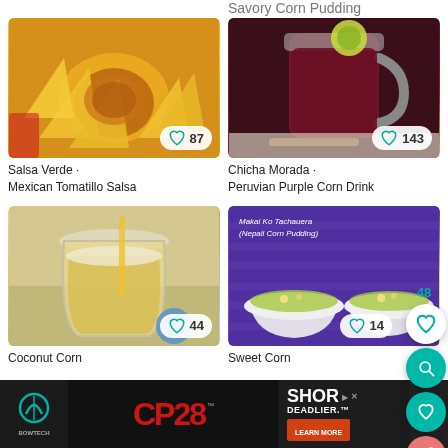Savory Corn Pudding
[Figure (photo): Salsa Verde - yellow corn chips with green/yellow salsa dip in bowl, 87 likes]
Salsa Verde · Mexican Tomatillo Salsa
[Figure (photo): Chicha Morada - dark purple corn drink in a mason jar with lime, 143 likes]
Chicha Morada · Peruvian Purple Corn Drink
[Figure (photo): Coconut Corn drink in a glass, 44 likes]
Coconut Corn
[Figure (photo): Sweet Corn - Makai Ko Tachauera (Nepali Corn Pudding) in white bowls on purple background, 14 likes]
Sweet Corn
[Figure (screenshot): CP28 Bowtech advertisement banner at the bottom - SHOR DEADLIER with LEARN MORE button]